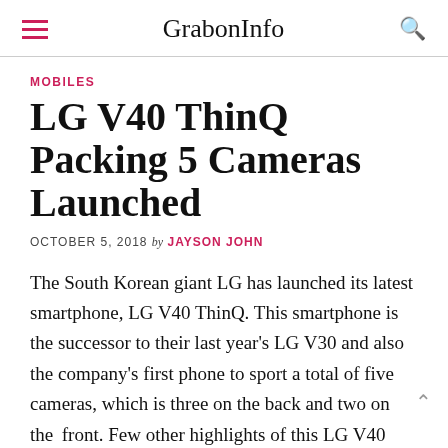GrabonInfo
MOBILES
LG V40 ThinQ Packing 5 Cameras Launched
OCTOBER 5, 2018 by JAYSON JOHN
The South Korean giant LG has launched its latest smartphone, LG V40 ThinQ. This smartphone is the successor to their last year's LG V30 and also the company's first phone to sport a total of five cameras, which is three on the back and two on the front. Few other highlights of this LG V40 ThinQ